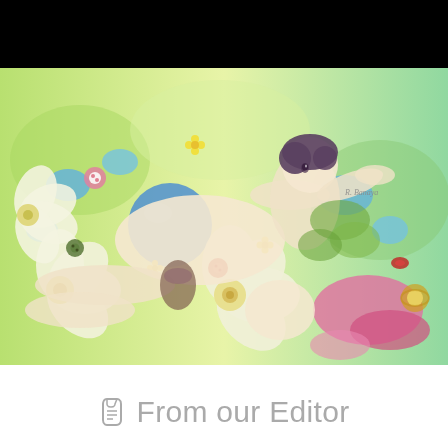[Figure (illustration): A decorative watercolor illustration showing two anime-style figures surrounded by large white flowers, colorful buttons, blue spheres, and lush green foliage. One figure has short dark hair. The artwork is signed 'R. Banaya' in the upper right. The illustration is framed by black bars at top and bottom.]
✏ From our Editor